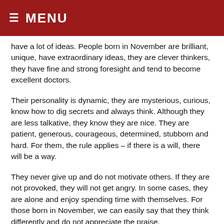≡ MENU
have a lot of ideas. People born in November are brilliant, unique, have extraordinary ideas, they are clever thinkers, they have fine and strong foresight and tend to become excellent doctors.
Their personality is dynamic, they are mysterious, curious, know how to dig secrets and always think. Although they are less talkative, they know they are nice. They are patient, generous, courageous, determined, stubborn and hard. For them, the rule applies – if there is a will, there will be a way.
They never give up and do not motivate others. If they are not provoked, they will not get angry. In some cases, they are alone and enjoy spending time with themselves. For those born in November, we can easily say that they think differently and do not appreciate the praise.
In addition, they are lively and well built. As for the love they love deeply emotionally, they are also romantic, although sometimes